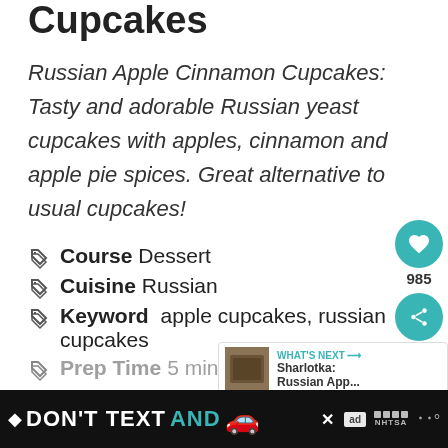Cupcakes
Russian Apple Cinnamon Cupcakes: Tasty and adorable Russian yeast cupcakes with apples, cinnamon and apple pie spices. Great alternative to usual cupcakes!
Course  Dessert
Cuisine  Russian
Keyword  apple cupcakes, russian cupcakes
Prep Time  5 minutes
[Figure (screenshot): What's Next overlay with Sharlotka: Russian App... thumbnail]
[Figure (screenshot): Heart/save button showing 985 saves and share button]
[Figure (screenshot): Advertisement banner: DON'T TEXT AND drive car emoji, NHTSA ad]